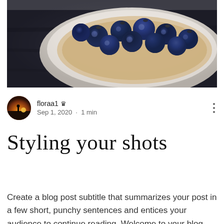[Figure (photo): Close-up photo of blueberries in a white bowl or dish, dark moody background]
floraa1 👑 Admin
Sep 1, 2020 · 1 min
Styling your shots
Create a blog post subtitle that summarizes your post in a few short, punchy sentences and entices your audience to continue reading. Welcome to your blog post. Use this space to connect with your readers and potential customers in a way that's current and interesting. Think of it as an